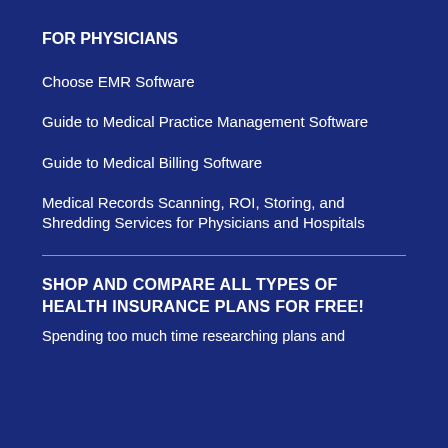FOR PHYSICIANS
Choose EMR Software
Guide to Medical Practice Management Software
Guide to Medical Billing Software
Medical Records Scanning, ROI, Storing, and Shredding Services for Physicians and Hospitals
SHOP AND COMPARE ALL TYPES OF HEALTH INSURANCE PLANS FOR FREE!
Spending too much time researching plans and